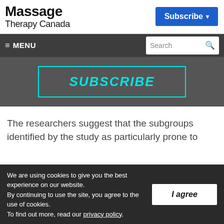Massage Therapy Canada
[Figure (screenshot): Subscribe button in blue with dropdown arrow in top right header]
[Figure (screenshot): Navigation bar with hamburger MENU on left and Search box on right]
[Figure (screenshot): Subscribe banner with cyan text on dark gray background with cyan border]
The researchers suggest that the subgroups identified by the study as particularly prone to
We are using cookies to give you the best experience on our website. By continuing to use the site, you agree to the use of cookies. To find out more, read our privacy policy.